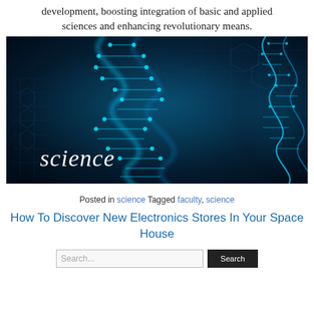development, boosting integration of basic and applied sciences and enhancing revolutionary means.
[Figure (photo): Science-themed photograph featuring glowing blue DNA double helix strands against a dark blue background with the word 'science' written in italic white text in the lower left.]
Posted in science Tagged faculty, science
How To Discover New Electronics Stores In Your Space House
Search... [Search button]